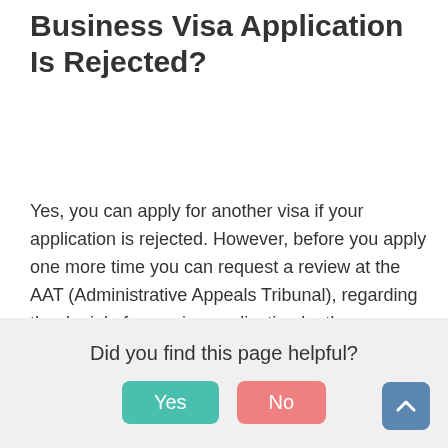Can I Apply for Another Visa if My Business Visa Application Is Rejected?
Yes, you can apply for another visa if your application is rejected. However, before you apply one more time you can request a review at the AAT (Administrative Appeals Tribunal), regarding the denial of your visa application by the Department of Foreign Affairs.
If you want to request an appeal, then read about the detailed process here.
Did you find this page helpful?